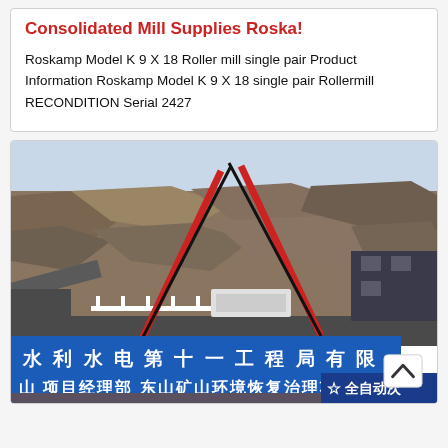Consolidated Mill Supplies Roska
Roskamp Model K 9 X 18 Roller mill single pair Product Information Roskamp Model K 9 X 18 single pair Rollermill RECONDITION Serial 2427
[Figure (photo): Industrial mining site with two large red and black cranes over machinery, rocky hillside/quarry in background. Blue banner with Chinese text in foreground: 水利水电第十一工程局有限 / 山项目经理部东山矿山环境恢复治理项. Bottom right corner shows partial signage: 全自动次. A circular logo/icon is partially visible at bottom right corner.]